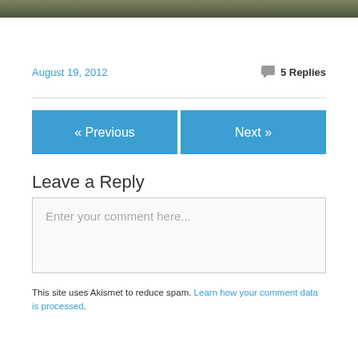[Figure (photo): Partial photo strip at top of page showing people outdoors on grass]
August 19, 2012
5 Replies
« Previous
Next »
Leave a Reply
Enter your comment here...
This site uses Akismet to reduce spam. Learn how your comment data is processed.